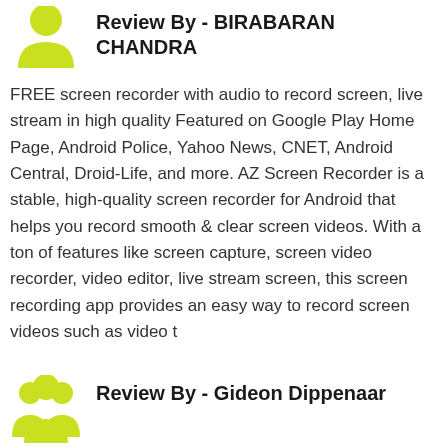Review By - BIRABARAN CHANDRA
FREE screen recorder with audio to record screen, live stream in high quality Featured on Google Play Home Page, Android Police, Yahoo News, CNET, Android Central, Droid-Life, and more. AZ Screen Recorder is a stable, high-quality screen recorder for Android that helps you record smooth & clear screen videos. With a ton of features like screen capture, screen video recorder, video editor, live stream screen, this screen recording app provides an easy way to record screen videos such as video t
Review By - Gideon Dippenaar
Works perfectly. Set to save on the SD card. Can record at different resolutions, bit rates, and FPS. No impact on hardware and other software detected while it was recording 🔲🔲🔲🔲 Editing is a dream!!! Had issues in the past with another app